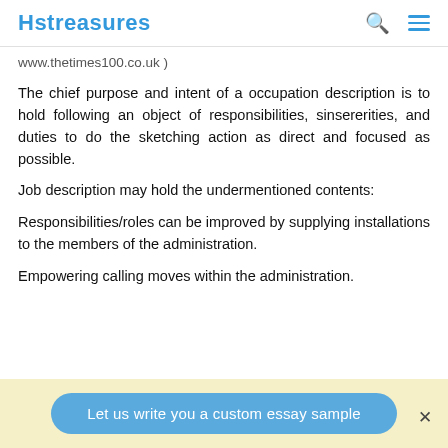Hstreasures
www.thetimes100.co.uk )
The chief purpose and intent of a occupation description is to hold following an object of responsibilities, sinsererities, and duties to do the sketching action as direct and focused as possible.
Job description may hold the undermentioned contents:
Responsibilities/roles can be improved by supplying installations to the members of the administration.
Empowering calling moves within the administration.
Let us write you a custom essay sample